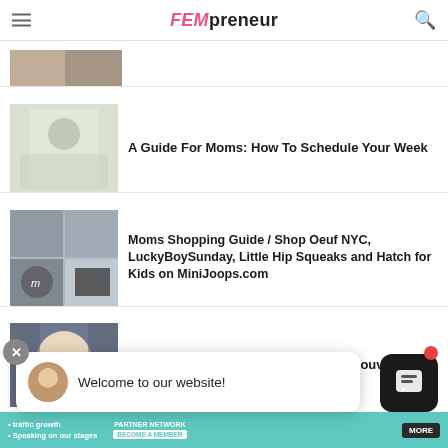FEMpreneur
[Figure (photo): Partial thumbnail of an article image at the top]
A Guide For Moms: How To Schedule Your Week
Moms Shopping Guide / Shop Oeuf NYC, LuckyBoySunday, Little Hip Squeaks and Hatch for Kids on MiniJoops.com
Ashley Scott / Women in Games Vancouver
[Figure (screenshot): Chat widget popup saying Welcome to our website! with avatar and close button]
[Figure (infographic): Footer banner with teal background showing traffic growth, speaking on stages, partner network, become a member, MORE button]